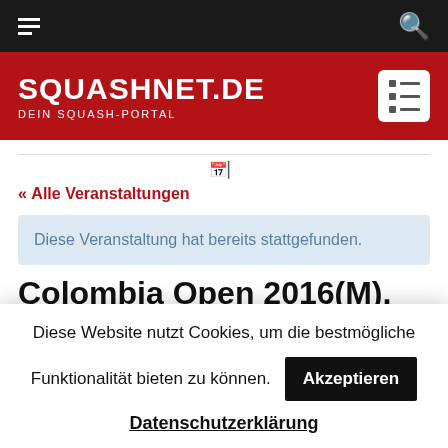SQUASHNET.DE — DEIN SQUASH-PORTAL
« Alle Veranstaltungen
Diese Veranstaltung hat bereits stattgefunden.
Colombia Open 2016(M), Cartagena
Diese Website nutzt Cookies, um die bestmögliche Funktionalität bieten zu können.
Akzeptieren
Datenschutzerklärung